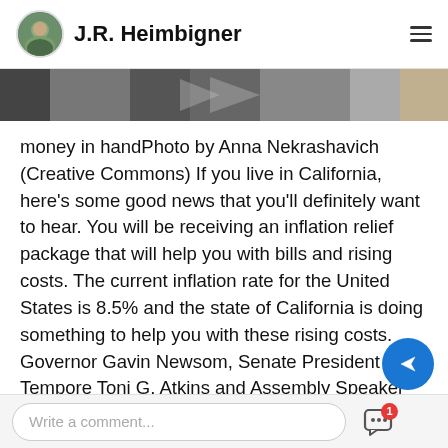J.R. Heimbigner
[Figure (photo): Partial photo strip showing what appears to be a keyboard or device, cropped at top]
money in handPhoto by Anna Nekrashavich (Creative Commons)
If you live in California, here's some good news that you'll definitely want to hear. You will be receiving an inflation relief package that will help you with bills and rising costs. The current inflation rate for the United States is 8.5% and the state of California is doing something to help you with these rising costs. Governor Gavin Newsom, Senate President pro Tempore Toni G. Atkins and Assembly Speaker Anthony Rendon reached an agreement on the framework for the 2022-23 state budget. The focus of the budget is on giving do